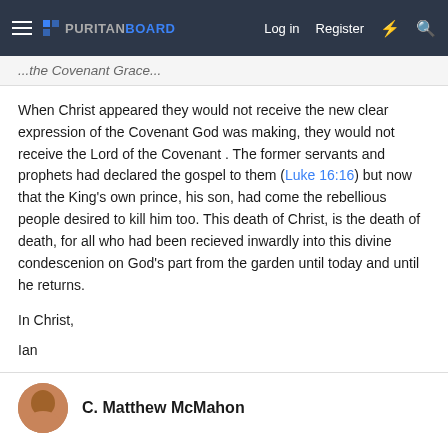Puritan Board — Log in | Register
...the Covenant Grace...
When Christ appeared they would not receive the new clear expression of the Covenant God was making, they would not receive the Lord of the Covenant . The former servants and prophets had declared the gospel to them (Luke 16:16) but now that the King's own prince, his son, had come the rebellious people desired to kill him too. This death of Christ, is the death of death, for all who had been recieved inwardly into this divine condescenion on God's part from the garden until today and until he returns.
In Christ,
Ian
C. Matthew McMahon